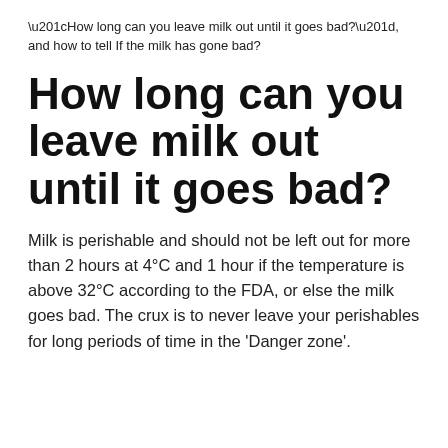“How long can you leave milk out until it goes bad?”, and how to tell If the milk has gone bad?
How long can you leave milk out until it goes bad?
Milk is perishable and should not be left out for more than 2 hours at 4°C and 1 hour if the temperature is above 32°C according to the FDA, or else the milk goes bad. The crux is to never leave your perishables for long periods of time in the ‘Danger zone’.